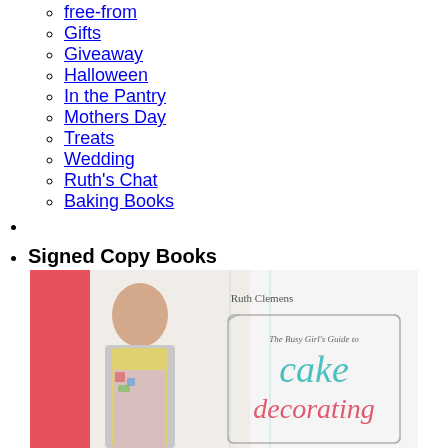free-from
Gifts
Giveaway
Halloween
In the Pantry
Mothers Day
Treats
Wedding
Ruth's Chat
Baking Books
Signed Copy Books
[Figure (photo): Book cover: The Busy Girl's Guide to Cake Decorating by Ruth Clemens, showing a woman decorating a cake with the book title in teal and red lettering on a white background with pink border]